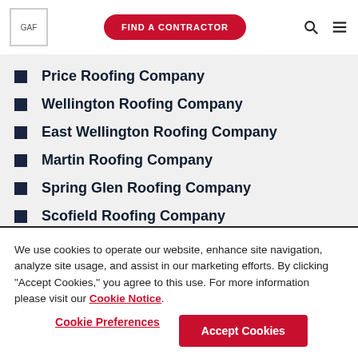GAF | FIND A CONTRACTOR
Price Roofing Company
Wellington Roofing Company
East Wellington Roofing Company
Martin Roofing Company
Spring Glen Roofing Company
Scofield Roofing Company
Castle Gate Roofing Company
Helper Roofing Company
We use cookies to operate our website, enhance site navigation, analyze site usage, and assist in our marketing efforts. By clicking "Accept Cookies," you agree to this use. For more information please visit our Cookie Notice.
Cookie Preferences | Accept Cookies